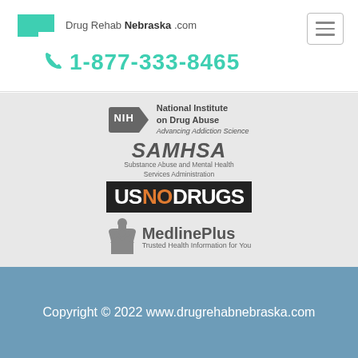Drug Rehab Nebraska .com
1-877-333-8465
[Figure (logo): Collection of logos: NIH National Institute on Drug Abuse, SAMHSA Substance Abuse and Mental Health Services Administration, US NO DRUGS, MedlinePlus Trusted Health Information for You]
Copyright © 2022 www.drugrehabnebraska.com